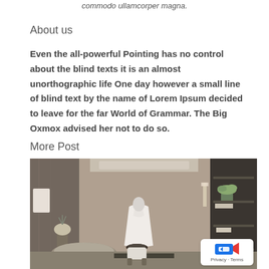commodo ullamcorper magna.
About us
Even the all-powerful Pointing has no control about the blind texts it is an almost unorthographic life One day however a small line of blind text by the name of Lorem Ipsum decided to leave for the far World of Grammar. The Big Oxmox advised her not to do so.
More Post
[Figure (photo): Luxury hotel room interior with marble walls, white bathrobe on mannequin stand, glass shower partition, decorative plants, and elegant lighting.]